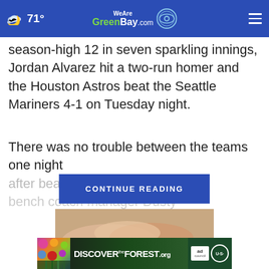71° WeAreGreenBay.com
season-high 12 in seven sparkling innings, Jordan Alvarez hit a two-run homer and the Houston Astros beat the Seattle Mariners 4-1 on Tuesday night.
There was no trouble between the teams one night after beanballs cuffle. Houston bench coach manager Dusty
CONTINUE READING
[Figure (photo): Close-up of a hand touching skin with a mole]
[Figure (infographic): DISCOVERtheFOREST.org advertisement banner with Ad Council and US Forest Service logos]